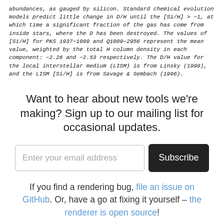abundances, as gauged by silicon. Standard chemical evolution models predict little change in D/H until the [Si/H] > −1, at which time a significant fraction of the gas has come from inside stars, where the D has been destroyed. The values of [Si/H] for PKS 1937−1009 and Q1009−2956 represent the mean value, weighted by the total H column density in each component: −2.26 and −2.53 respectively. The D/H value for the local interstellar medium (LISM) is from Linsky (1998), and the LISM [Si/H] is from Savage & Sembach (1996).
Want to hear about new tools we're making? Sign up to our mailing list for occasional updates.
If you find a rendering bug, file an issue on GitHub. Or, have a go at fixing it yourself – the renderer is open source!
For everything else, email us at feedback@arxiv...